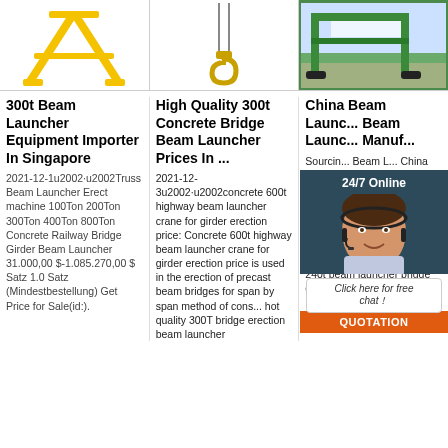[Figure (photo): Yellow A-frame crane/beam launcher equipment on white background]
[Figure (photo): Hook and chain rigging equipment on white background]
[Figure (photo): Green large beam launcher crane in outdoor setting]
300t Beam Launcher Equipment Importer In Singapore
2021-12-1u2002·u2002Truss Beam Launcher Erect machine 100Ton 200Ton 300Ton 400Ton 800Ton Concrete Railway Bridge Girder Beam Launcher 31.000,00 $-1.085.270,00 $ Satz 1.0 Satz (Mindestbestellung) Get Price for Sale(id:).
High Quality 300t Concrete Bridge Beam Launcher Prices In ...
2021-12-3u2002·u2002concrete 600t highway beam launcher crane for girder erection price: Concrete 600t highway beam launcher crane for girder erection price is used in the erection of precast beam bridges for span by span method of cons... hot quality 300T bridge erection beam launcher
China Beam Launcher, Beam Launcher Manufacturers ...
Sourcing Guide for Beam Launcher: China manufacturing industries are full of strong and consistent exporters. We are here to bring together China factories that supply manufacturing systems and machinery that are used by processing industries including but not limited to: 240t beam launcher bridge crane, 200t
[Figure (infographic): 24/7 Online chat widget with agent photo, click here for free chat button, and orange QUOTATION button]